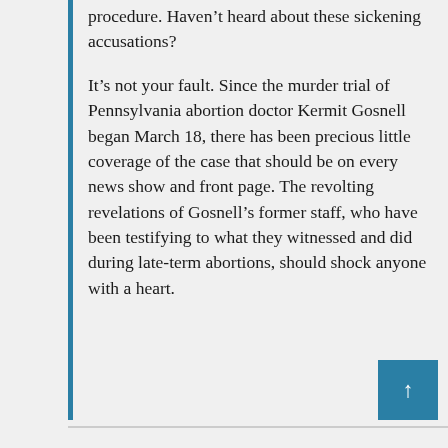procedure. Haven't heard about these sickening accusations?
It's not your fault. Since the murder trial of Pennsylvania abortion doctor Kermit Gosnell began March 18, there has been precious little coverage of the case that should be on every news show and front page. The revolting revelations of Gosnell's former staff, who have been testifying to what they witnessed and did during late-term abortions, should shock anyone with a heart.